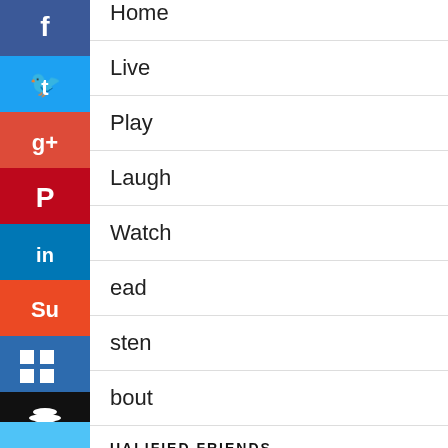Home
Live
Play
Laugh
Watch
Read
Listen
About
QUALIFIED FRIENDS
FGdating
[Figure (infographic): Vertical social media share bar with icons for Facebook (blue), Twitter (light blue), Google+ (red), Pinterest (dark red), LinkedIn (blue), StumbleUpon (orange-red), a square blue button, Buffer (black), and a light blue button at the bottom.]